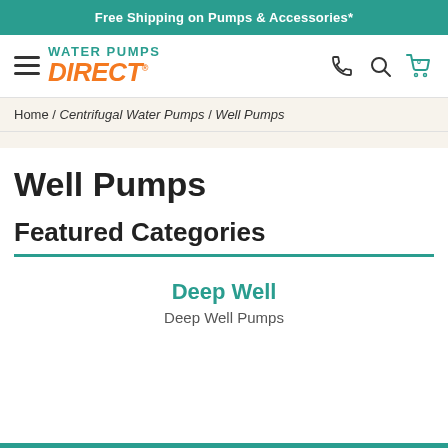Free Shipping on Pumps & Accessories*
[Figure (logo): Water Pumps Direct logo with hamburger menu and navigation icons (phone, search, cart)]
Home / Centrifugal Water Pumps / Well Pumps
Well Pumps
Featured Categories
Deep Well
Deep Well Pumps